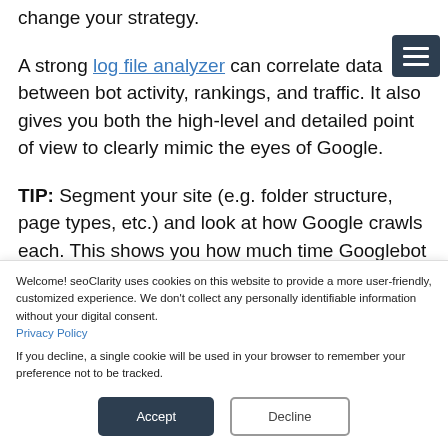change your strategy.
A strong log file analyzer can correlate data between bot activity, rankings, and traffic. It also gives you both the high-level and detailed point of view to clearly mimic the eyes of Google.
TIP: Segment your site (e.g. folder structure, page types, etc.) and look at how Google crawls each. This shows you how much time Googlebot spends on each portion of your site, which can
Welcome! seoClarity uses cookies on this website to provide a more user-friendly, customized experience. We don't collect any personally identifiable information without your digital consent. Privacy Policy

If you decline, a single cookie will be used in your browser to remember your preference not to be tracked.